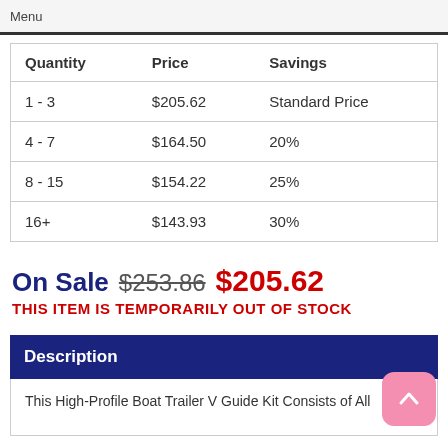| Quantity | Price | Savings |
| --- | --- | --- |
| 1 - 3 | $205.62 | Standard Price |
| 4 - 7 | $164.50 | 20% |
| 8 - 15 | $154.22 | 25% |
| 16+ | $143.93 | 30% |
On Sale $253.86 $205.62
THIS ITEM IS TEMPORARILY OUT OF STOCK
Description
This High-Profile Boat Trailer V Guide Kit Consists of All